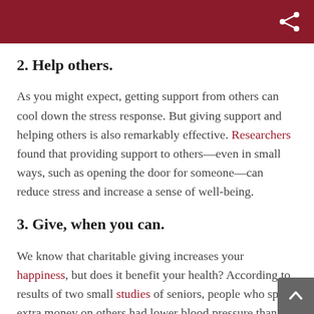2. Help others.
As you might expect, getting support from others can cool down the stress response. But giving support and helping others is also remarkably effective. Researchers found that providing support to others—even in small ways, such as opening the door for someone—can reduce stress and increase a sense of well-being.
3. Give, when you can.
We know that charitable giving increases your happiness, but does it benefit your health? According to results of two small studies of seniors, people who spent extra money on others had lower blood pressure than those who spent extra